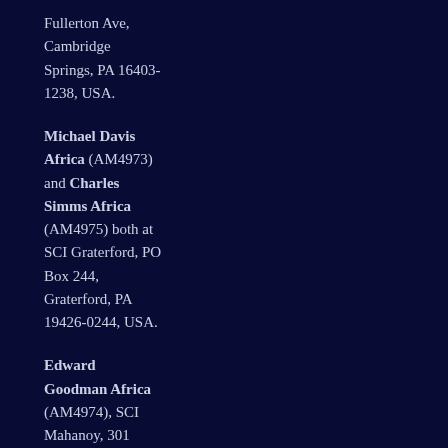Fullerton Ave, Cambridge Springs, PA 16403-1238, USA.
Michael Davis Africa (AM4973) and Charles Simms Africa (AM4975) both at SCI Graterford, PO Box 244, Graterford, PA 19426-0244, USA.
Edward Goodman Africa (AM4974), SCI Mahanoy, 301 Morea Rd, Frackville, PA 17932, USA.